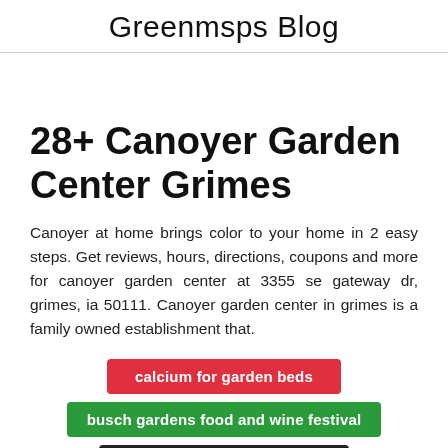Greenmsps Blog
28+ Canoyer Garden Center Grimes
Canoyer at home brings color to your home in 2 easy steps. Get reviews, hours, directions, coupons and more for canoyer garden center at 3355 se gateway dr, grimes, ia 50111. Canoyer garden center in grimes is a family owned establishment that.
calcium for garden beds
busch gardens food and wine festival
canton * CLOSE X delivery